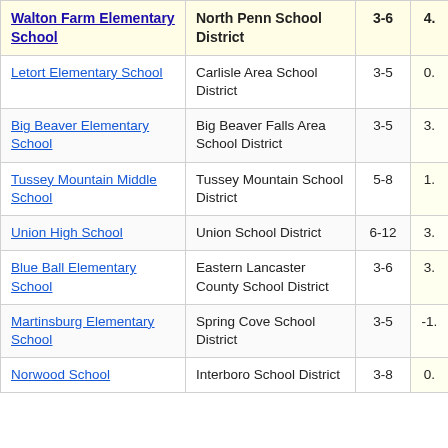| School | District | Grades | Value |
| --- | --- | --- | --- |
| Walton Farm Elementary School | North Penn School District | 3-6 | 4. |
| Letort Elementary School | Carlisle Area School District | 3-5 | 0. |
| Big Beaver Elementary School | Big Beaver Falls Area School District | 3-5 | 3. |
| Tussey Mountain Middle School | Tussey Mountain School District | 5-8 | 1. |
| Union High School | Union School District | 6-12 | 3. |
| Blue Ball Elementary School | Eastern Lancaster County School District | 3-6 | 3. |
| Martinsburg Elementary School | Spring Cove School District | 3-5 | -1. |
| Norwood School | Interboro School District | 3-8 | 0. |